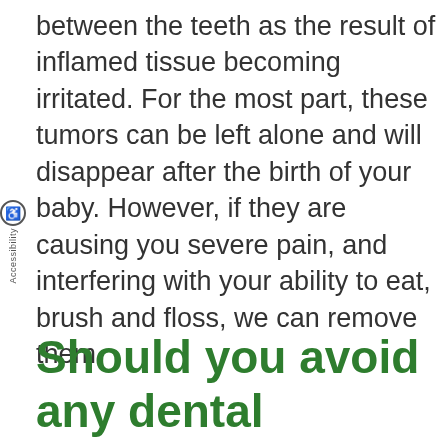between the teeth as the result of inflamed tissue becoming irritated. For the most part, these tumors can be left alone and will disappear after the birth of your baby. However, if they are causing you severe pain, and interfering with your ability to eat, brush and floss, we can remove them.
Should you avoid any dental procedures while pregnant?